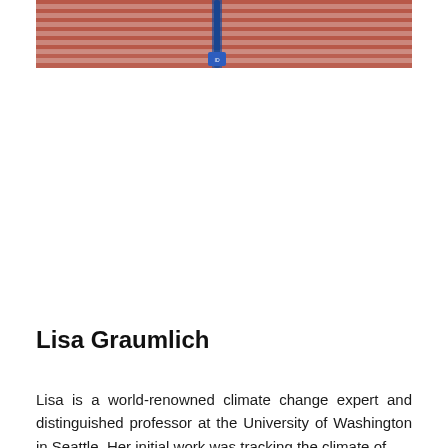[Figure (photo): Partial photo of Lisa Graumlich wearing a striped shirt and a lanyard/badge, cropped at the top of the page]
Lisa Graumlich
Lisa is a world-renowned climate change expert and distinguished professor at the University of Washington in Seattle. Her initial work was tracking the climate of